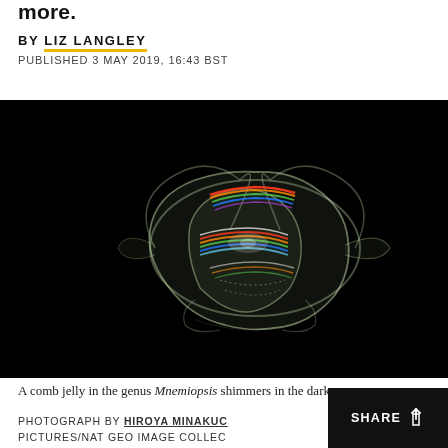more.
BY LIZ LANGLEY
PUBLISHED 3 MAY 2019, 16:43 BST
[Figure (photo): A comb jelly in the genus Mnemiopsis shimmering in the dark ocean against a black background, with iridescent rainbow-colored comb rows visible.]
A comb jelly in the genus Mnemiopsis shimmers in the dark ocean.
PHOTOGRAPH BY HIROYA MINAKUCHI/MINDEN PICTURES/NAT GEO IMAGE COLLECTION